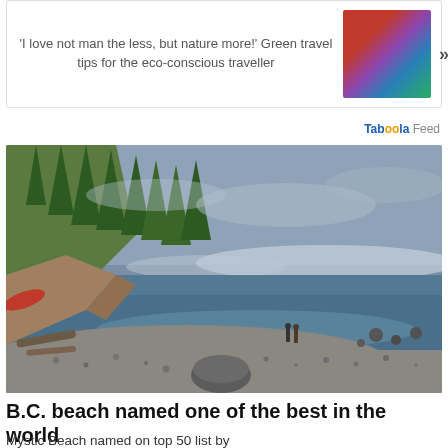'I love not man the less, but nature more!' Green travel tips for the eco-conscious traveller »
[Figure (photo): Promotional thumbnail showing a person with a backpack near a colourful train]
Taboola Feed
[Figure (photo): A scenic rocky beach in British Columbia with tall evergreen trees on a cliff, calm ocean water, distant mountains, and two people walking on the pebble shore. A red kayak is partially visible in the foreground.]
B.C. beach named one of the best in the world
Mystic Beach named on top 50 list by